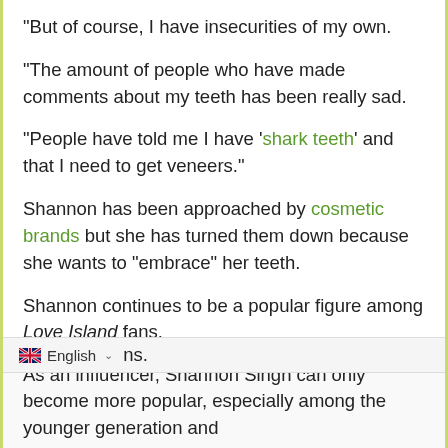"But of course, I have insecurities of my own.
"The amount of people who have made comments about my teeth has been really sad.
"People have told me I have 'shark teeth' and that I need to get veneers."
Shannon has been approached by cosmetic brands but she has turned them down because she wants to "embrace" her teeth.
Shannon continues to be a popular figure among Love Island fans.
Since leaving the villa, she has landed numerous modelling deals and has enjoyed several holidays in [locations] ns.
As an influencer, Shannon Singh can only become more popular, especially among the younger generation and